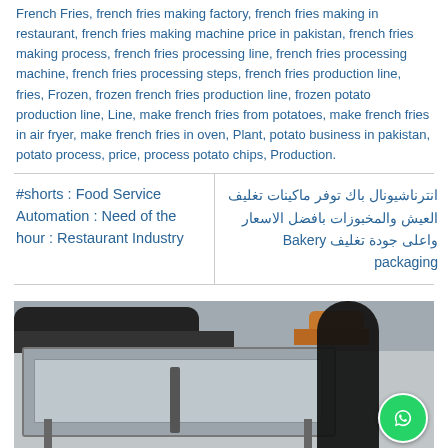French Fries, french fries making factory, french fries making in restaurant, french fries making machine price in pakistan, french fries making process, french fries processing line, french fries processing machine, french fries processing steps, french fries production line, fries, Frozen, frozen french fries production line, frozen potato production line, Line, make french fries from potatoes, make french fries in air fryer, make french fries in oven, Plant, potato business in pakistan, potato process, price, process potato chips, Production.
#shorts : Food Service Automation : Need of the hour : Restaurant Industry
انترناشيونال باك توفر ماكينات تغليف العيش والمخبوزات بافضل الاسعار واعلى جودة تغليف Bakery packaging
[Figure (photo): A video thumbnail showing industrial machinery (flat frying table/equipment) with a person standing behind it, cars visible in background, and a WhatsApp icon in the lower right corner.]